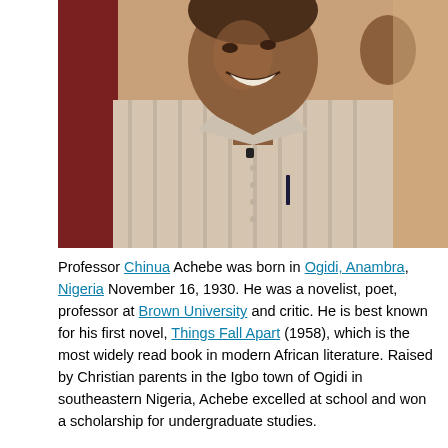[Figure (photo): A smiling older man wearing a white and grey striped short-sleeve collared shirt with a small lapel microphone, hand raised near his ear in a conversational gesture, photographed in an interior setting with a reddish background.]
Professor Chinua Achebe was born in Ogidi, Anambra, Nigeria November 16, 1930. He was a novelist, poet, professor at Brown University and critic. He is best known for his first novel, Things Fall Apart (1958), which is the most widely read book in modern African literature. Raised by Christian parents in the Igbo town of Ogidi in southeastern Nigeria, Achebe excelled at school and won a scholarship for undergraduate studies.